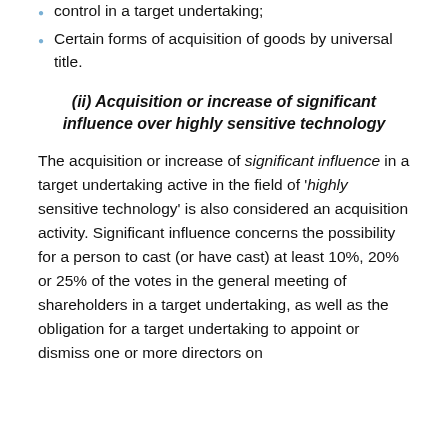control in a target undertaking;
Certain forms of acquisition of goods by universal title.
(ii) Acquisition or increase of significant influence over highly sensitive technology
The acquisition or increase of significant influence in a target undertaking active in the field of 'highly sensitive technology' is also considered an acquisition activity. Significant influence concerns the possibility for a person to cast (or have cast) at least 10%, 20% or 25% of the votes in the general meeting of shareholders in a target undertaking, as well as the obligation for a target undertaking to appoint or dismiss one or more directors on